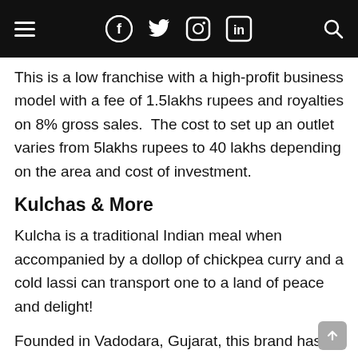Navigation header with hamburger menu, social icons (Facebook, Twitter, Instagram, LinkedIn), and search icon
This is a low franchise with a high-profit business model with a fee of 1.5lakhs rupees and royalties on 8% gross sales.  The cost to set up an outlet varies from 5lakhs rupees to 40 lakhs depending on the area and cost of investment.
Kulchas & More
Kulcha is a traditional Indian meal when accompanied by a dollop of chickpea curry and a cold lassi can transport one to a land of peace and delight!
Founded in Vadodara, Gujarat, this brand has